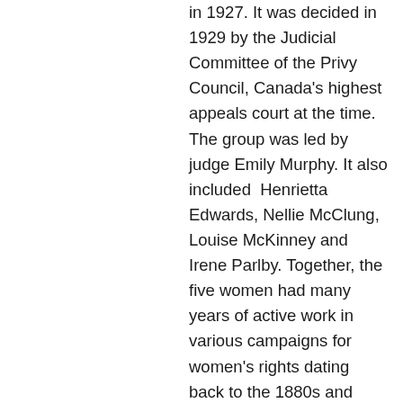in 1927. It was decided in 1929 by the Judicial Committee of the Privy Council, Canada's highest appeals court at the time. The group was led by judge Emily Murphy. It also included  Henrietta Edwards, Nellie McClung, Louise McKinney and Irene Parlby. Together, the five women had many years of active work in various campaigns for women's rights dating back to the 1880s and 1890s. They enjoyed a national — and in the case of McClung,